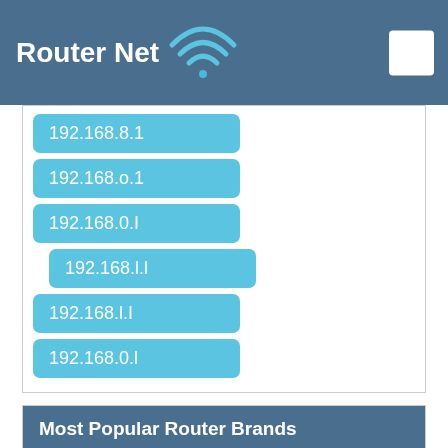Router Net
192.168.8.1
192.168.o.1
192.168.0.I
192.168.l.l
192.168.l.I
192.168.0.l
Most Popular Router Brands
3Com
3JTech
2Wire
4G Systems